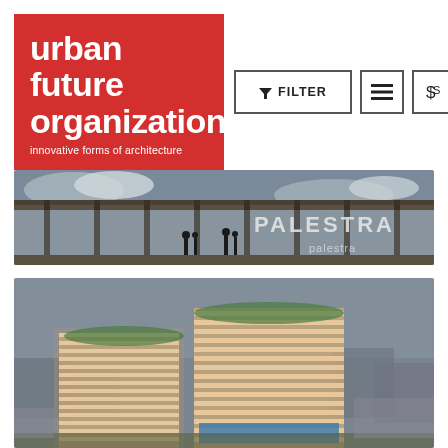[Figure (logo): Urban Future Organization logo - red background with white text reading 'urban future organization' and subtitle 'innovative forms of architecture']
[Figure (screenshot): Navigation bar with FILTER button, hamburger menu button, and settings/currency button]
[Figure (photo): Architectural rendering of Palestra building - a long horizontal structure with glass facade and people silhouettes, with 'palestra' watermark]
[Figure (photo): Aerial architectural rendering of modern residential towers with distinctive horizontal banded facade in an urban context]